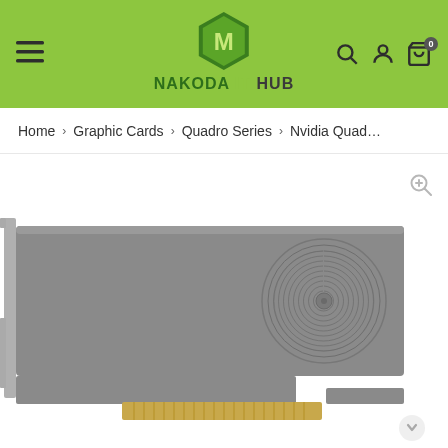[Figure (logo): Nakoda IT Hub logo with green hexagon icon and brand name]
Home > Graphic Cards > Quadro Series > Nvidia Quad...
[Figure (photo): Nvidia Quadro graphics card product photo showing the PCB with PCIe connector and circular fan shroud design on a grey card]